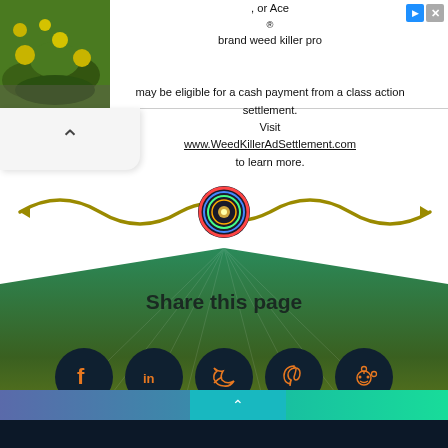[Figure (screenshot): Advertisement banner with plant photo on left and text about Roundup weed killer class action settlement]
Purchasers of certain Roundup®, HDX®, or Ace® brand weed killer products may be eligible for a cash payment from a class action settlement. Visit www.WeedKillerAdSettlement.com to learn more.
[Figure (screenshot): Back/up chevron button in white rounded area]
[Figure (illustration): Wavy golden/olive decorative divider with a colorful circular logo/icon in the center]
Share this page
[Figure (infographic): Social share buttons: Facebook, LinkedIn, Twitter, Pinterest, Reddit — dark navy circles with orange icons on green gradient background]
[Figure (screenshot): Footer bar with up arrow button in teal center section, blue-purple left, green-teal right, dark navy bottom strip]